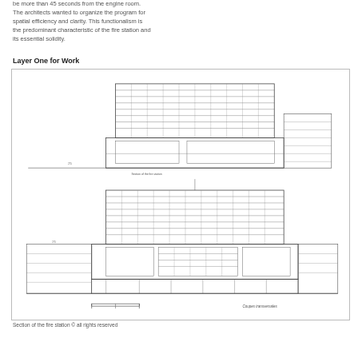be more than 45 seconds from the engine room. The architects wanted to organize the program for spatial efficiency and clarity. This functionalism is the predominant characteristic of the fire station and its essential solidity.
Layer One for Work
[Figure (engineering-diagram): Two architectural cross-section drawings of a fire station building. The upper drawing shows a front elevation with a multi-story office block on top and a lower ground-floor section. The lower drawing shows a sectional view revealing interior floors, a large engine room bay, and structural elements. Label 'Coupes transversales' appears at bottom right.]
Section of the fire station © all rights reserved